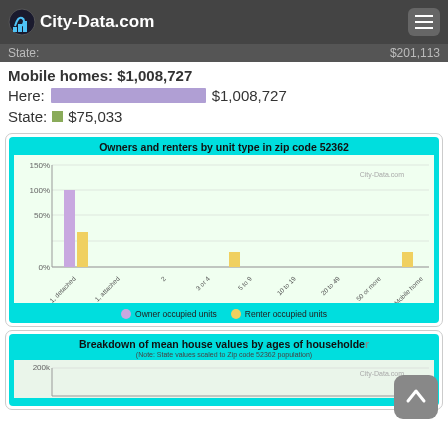City-Data.com
State: $201,113
Mobile homes: $1,008,727
Here: $1,008,727
State: $75,033
[Figure (bar-chart): Owners and renters by unit type in zip code 52362]
[Figure (bar-chart): Breakdown of mean house values by ages of householder]